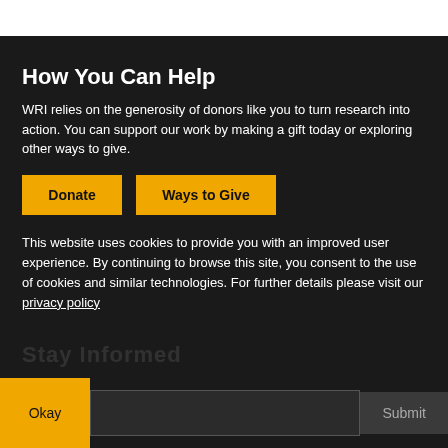How You Can Help
WRI relies on the generosity of donors like you to turn research into action. You can support our work by making a gift today or exploring other ways to give.
Donate | Ways to Give
This website uses cookies to provide you with an improved user experience. By continuing to browse this site, you consent to the use of cookies and similar technologies. For further details please visit our privacy policy
Okay
Submit